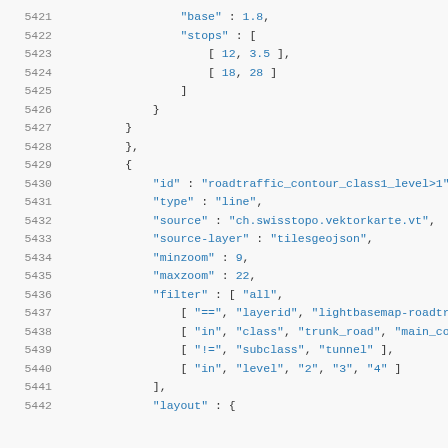Code listing lines 5421-5442 showing JSON configuration for roadtraffic_contour_class1_level>1 map layer